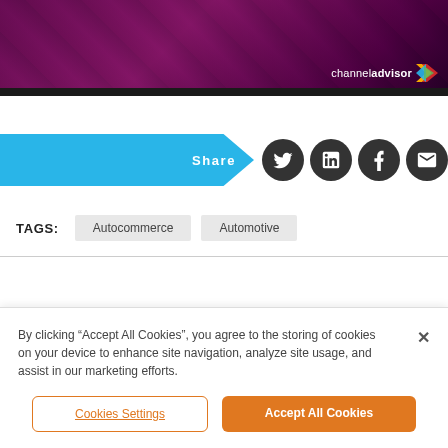[Figure (photo): Purple-toned header banner image with ChannelAdvisor logo (white text and colorful arrow icon) in the bottom-right corner, on a dark purple background.]
Share
TAGS: Autocommerce Automotive
By clicking “Accept All Cookies”, you agree to the storing of cookies on your device to enhance site navigation, analyze site usage, and assist in our marketing efforts.
Cookies Settings
Accept All Cookies